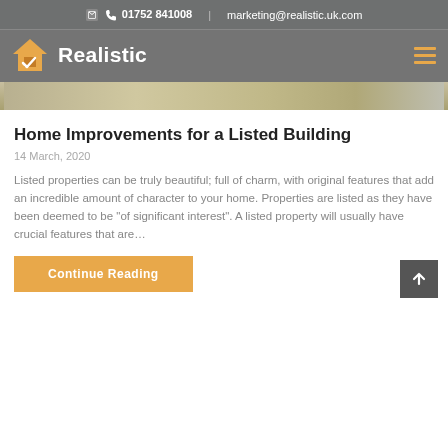01752 841008 | marketing@realistic.uk.com
[Figure (logo): Realistic company logo with orange house checkmark icon and white text 'Realistic' on grey navigation bar]
[Figure (photo): Landscape/garden outdoor scene image strip at top of article]
Home Improvements for a Listed Building
14 March, 2020
Listed properties can be truly beautiful; full of charm, with original features that add an incredible amount of character to your home. Properties are listed as they have been deemed to be "of significant interest". A listed property will usually have crucial features that are…
Continue Reading